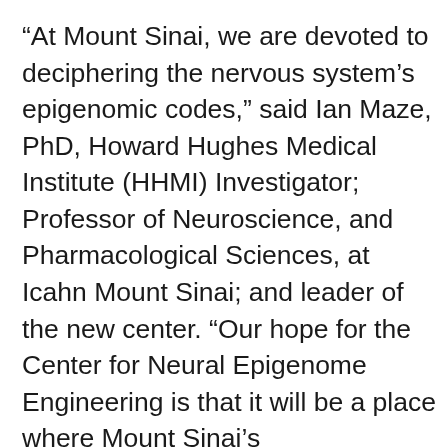“At Mount Sinai, we are devoted to deciphering the nervous system’s epigenomic codes,” said Ian Maze, PhD, Howard Hughes Medical Institute (HHMI) Investigator; Professor of Neuroscience, and Pharmacological Sciences, at Icahn Mount Sinai; and leader of the new center. “Our hope for the Center for Neural Epigenome Engineering is that it will be a place where Mount Sinai’s neuroscientists can employ the latest epigenomic concepts and methods while working side by side with multidisciplinary experts in the field of chromatin biology. We feel this will create an environment that is currently needed to both decipher neural epigenomic codes and